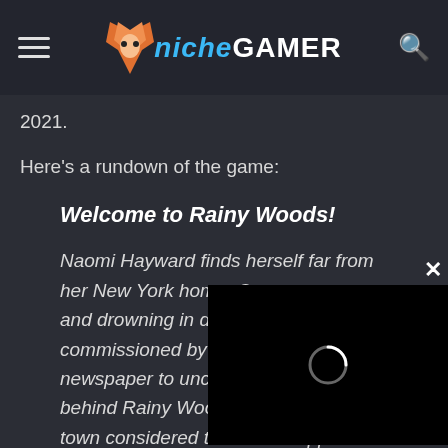Niche Gamer
2021.
Here's a rundown of the game:
Welcome to Rainy Woods!
Naomi Hayward finds herself far from her New York home. Out of work and drowning in debt, she's commissioned by The newspaper to uncover the mystery behind Rainy Woods – a rural English town considered to be the 'happiest in the world'. With her camera at the ready she starts her investigation but soon
[Figure (screenshot): Video player overlay with black background and loading spinner circle, with an X close button in the top right corner]